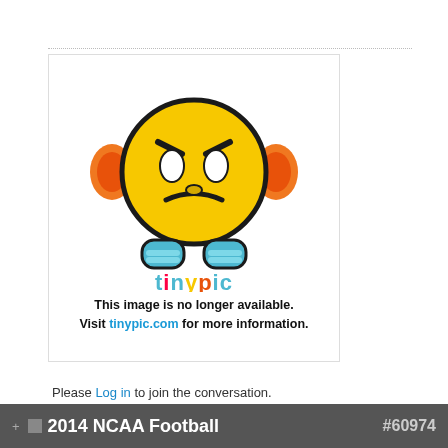[Figure (illustration): TinyPic broken image placeholder: yellow sad emoji face with orange ear-muffs and blue shoes, with 'tinypic' logo text below, followed by text 'This image is no longer available. Visit tinypic.com for more information.']
Please Log in to join the conversation.
2014 NCAA Football   #60974